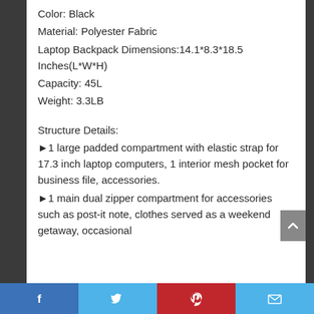Color: Black
Material: Polyester Fabric
Laptop Backpack Dimensions:14.1*8.3*18.5 Inches(L*W*H)
Capacity: 45L
Weight: 3.3LB
Structure Details:
►1 large padded compartment with elastic strap for 17.3 inch laptop computers, 1 interior mesh pocket for business file, accessories.
►1 main dual zipper compartment for accessories such as post-it note, clothes served as a weekend getaway, occasional